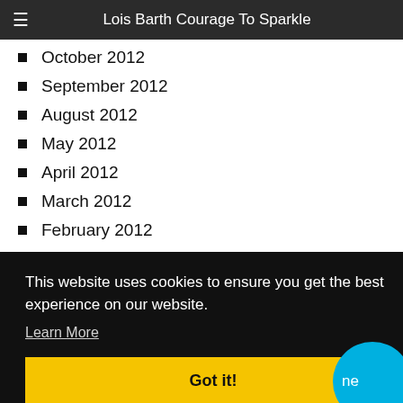Lois Barth Courage To Sparkle
October 2012
September 2012
August 2012
May 2012
April 2012
March 2012
February 2012
January 2012
This website uses cookies to ensure you get the best experience on our website.
Learn More
Got it!
February 2010